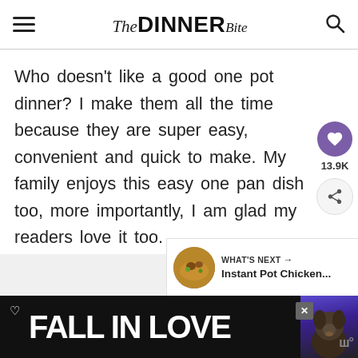The DINNER Bite
Who doesn't like a good one pot dinner? I make them all the time because they are super easy, convenient and quick to make. My family enjoys this easy one pan dish too, more importantly, I am glad my readers love it too.
[Figure (infographic): What's Next recommendation panel with circular food photo thumbnail and text 'WHAT'S NEXT → Instant Pot Chicken...']
[Figure (infographic): Advertisement banner with dark background, 'FALL IN LOVE' text, dog photo]